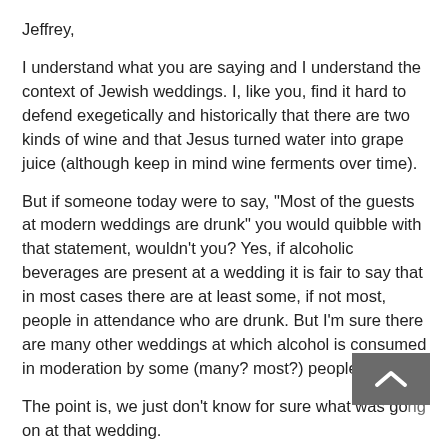Jeffrey,
I understand what you are saying and I understand the context of Jewish weddings. I, like you, find it hard to defend exegetically and historically that there are two kinds of wine and that Jesus turned water into grape juice (although keep in mind wine ferments over time).
But if someone today were to say, "Most of the guests at modern weddings are drunk" you would quibble with that statement, wouldn't you? Yes, if alcoholic beverages are present at a wedding it is fair to say that in most cases there are at least some, if not most, people in attendance who are drunk. But I'm sure there are many other weddings at which alcohol is consumed in moderation by some (many? most?) people present.
The point is, we just don't know for sure what was going on at that wedding.